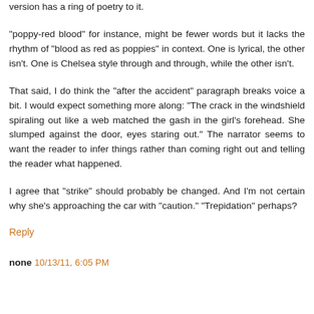version has a ring of poetry to it.
"poppy-red blood" for instance, might be fewer words but it lacks the rhythm of "blood as red as poppies" in context. One is lyrical, the other isn't. One is Chelsea style through and through, while the other isn't.
That said, I do think the "after the accident" paragraph breaks voice a bit. I would expect something more along: "The crack in the windshield spiraling out like a web matched the gash in the girl's forehead. She slumped against the door, eyes staring out." The narrator seems to want the reader to infer things rather than coming right out and telling the reader what happened.
I agree that "strike" should probably be changed. And I'm not certain why she's approaching the car with "caution." "Trepidation" perhaps?
Reply
none 10/13/11, 6:05 PM